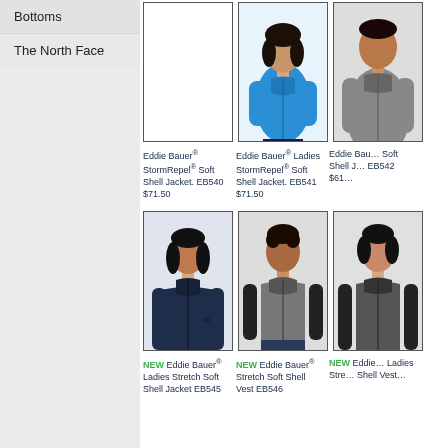Bottoms
The North Face
[Figure (photo): Eddie Bauer StormRepel Soft Shell Jacket EB540 – empty/white product box]
Eddie Bauer® StormRepel® Soft Shell Jacket. EB540 $71.50
[Figure (photo): Woman wearing blue Eddie Bauer StormRepel Soft Shell Jacket EB541]
Eddie Bauer® Ladies StormRepel® Soft Shell Jacket. EB541 $71.50
[Figure (photo): Man wearing gray Eddie Bauer Soft Shell Jacket EB542 (cropped)]
Eddie Bau… Soft Shell J… EB542 $61…
[Figure (photo): Woman wearing navy Eddie Bauer Ladies Stretch Soft Shell Jacket EB545]
NEW Eddie Bauer® Ladies Stretch Soft Shell Jacket EB545
[Figure (photo): Young man wearing gray Eddie Bauer Stretch Soft Shell Vest EB546]
NEW Eddie Bauer® Stretch Soft Shell Vest EB546
[Figure (photo): Woman wearing Eddie Bauer Ladies Stretch Soft Shell Vest (cropped)]
NEW Eddie… Ladies Stre… Shell Vest…